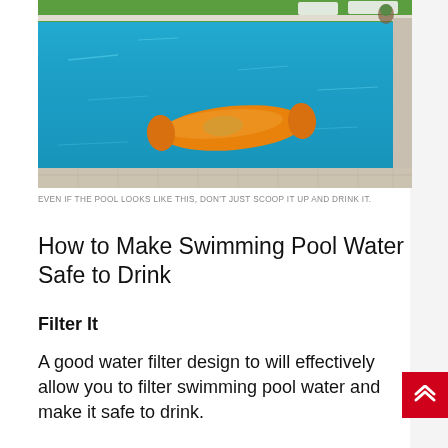[Figure (photo): A bright blue outdoor swimming pool with an orange inflatable pool float/mattress floating in the water. White lounge chairs visible in the background on a green lawn. Pool has white tile edging and stone pavers.]
EVEN IF THE POOL LOOKS LIKE THIS, DON'T JUST SCOOP IT UP AND DRINK IT.
How to Make Swimming Pool Water Safe to Drink
Filter It
A good water filter design to will effectively allow you to filter swimming pool water and make it safe to drink.